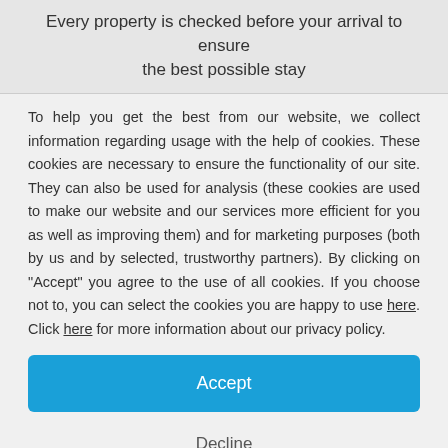Every property is checked before your arrival to ensure the best possible stay
To help you get the best from our website, we collect information regarding usage with the help of cookies. These cookies are necessary to ensure the functionality of our site. They can also be used for analysis (these cookies are used to make our website and our services more efficient for you as well as improving them) and for marketing purposes (both by us and by selected, trustworthy partners). By clicking on "Accept" you agree to the use of all cookies. If you choose not to, you can select the cookies you are happy to use here. Click here for more information about our privacy policy.
Accept
Decline
Configure